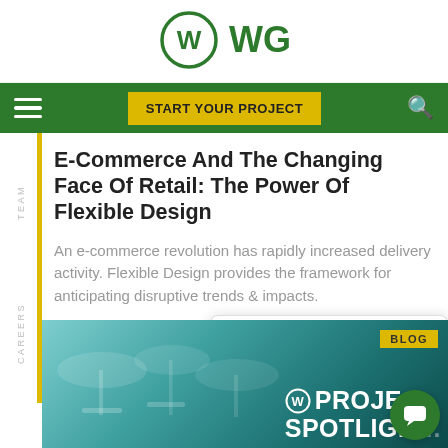[Figure (logo): WGI logo — stylized W in a circle followed by WGI text, in green]
[Figure (screenshot): Green navigation bar with hamburger menu icon on left, yellow START YOUR PROJECT button in center-right, and search icon on right]
E-Commerce And The Changing Face Of Retail: The Power Of Flexible Design
An e-commerce revolution has rapidly increased delivery activity. Flexible Design provides the framework for anticipating disruptive trends & impacts.
[Figure (screenshot): WGI chat popup with logo icon, X close button, and text 'Questions? We're happy to help.']
[Figure (photo): Outdoor terrace/patio scene with umbrellas and tables, teal/blue tones, with BLOG badge and PROJECT SPOTLIGHT text overlay with WGI logo]